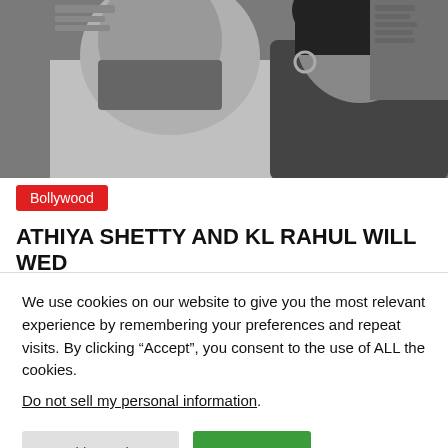[Figure (photo): Black and white photo of two people, a bearded man in a light grey sweatshirt and a woman in a black top leaning close together, in an indoor setting with other people in the background.]
Bollywood
ATHIYA SHETTY AND KL RAHUL WILL WED
We use cookies on our website to give you the most relevant experience by remembering your preferences and repeat visits. By clicking "Accept", you consent to the use of ALL the cookies.
Do not sell my personal information.
Cookie Settings
Accept